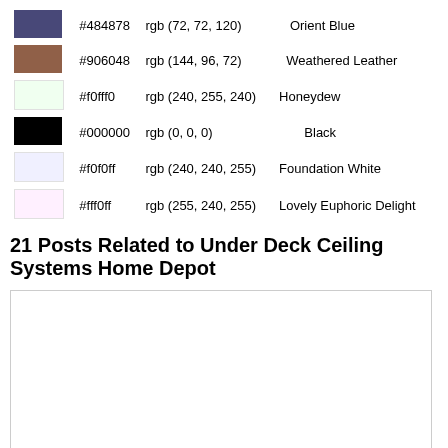| Swatch | Hex | RGB | Name |
| --- | --- | --- | --- |
|  | #484878 | rgb (72, 72, 120) | Orient Blue |
|  | #906048 | rgb (144, 96, 72) | Weathered Leather |
|  | #f0fff0 | rgb (240, 255, 240) | Honeydew |
|  | #000000 | rgb (0, 0, 0) | Black |
|  | #f0f0ff | rgb (240, 240, 255) | Foundation White |
|  | #fff0ff | rgb (255, 240, 255) | Lovely Euphoric Delight |
21 Posts Related to Under Deck Ceiling Systems Home Depot
[Figure (other): Large white/blank image placeholder with a light gray border]